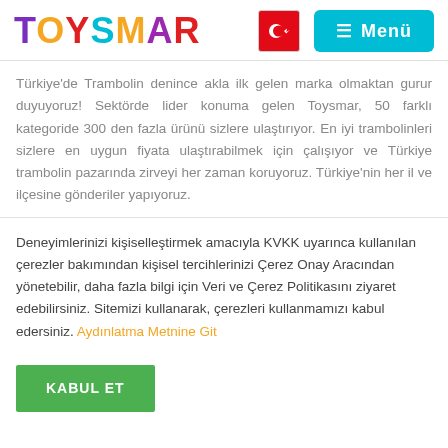[Figure (logo): Toysmar colorful logo with letters in purple, orange, red, green colors]
Türkiye'de Trambolin denince akla ilk gelen marka olmaktan gurur duyuyoruz! Sektörde lider konuma gelen Toysmar, 50 farklı kategoride 300 den fazla ürünü sizlere ulaştırıyor. En iyi trambolinleri sizlere en uygun fiyata ulaştırabilmek için çalışıyor ve Türkiye trambolin pazarında zirveyi her zaman koruyoruz. Türkiye'nin her il ve ilçesine gönderiler yapıyoruz.
Deneyimlerinizi kişiselleştirmek amacıyla KVKK uyarınca kullanılan çerezler bakımından kişisel tercihlerinizi Çerez Onay Aracından yönetebilir, daha fazla bilgi için Veri ve Çerez Politikasını ziyaret edebilirsiniz. Sitemizi kullanarak, çerezleri kullanmamızı kabul edersiniz. Aydınlatma Metnine Git
KABUL ET